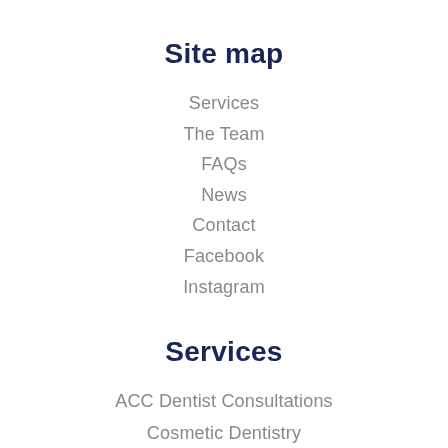Site map
Services
The Team
FAQs
News
Contact
Facebook
Instagram
Services
ACC Dentist Consultations
Cosmetic Dentistry
Same Day Crowns
Composite Dental Fillings
Dental Implants
Diagnostics And Prevention